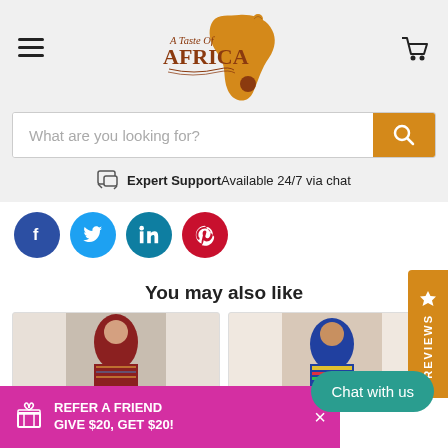[Figure (logo): A Taste of Africa logo with African continent silhouette in orange and gold tones with decorative text]
[Figure (other): Search bar with placeholder 'What are you looking for?' and orange search button]
Expert Support Available 24/7 via chat
[Figure (other): Social media icons: Facebook (blue), Twitter (cyan), LinkedIn (teal), Pinterest (red)]
[Figure (other): Orange vertical Reviews tab on right side with star icon and REVIEWS text]
You may also like
[Figure (other): Product image tiles at the bottom showing African fashion items]
REFER A FRIEND GIVE $20, GET $20!
Chat with us